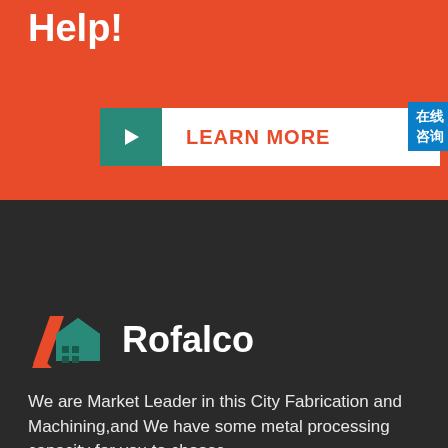Help!
[Figure (infographic): LEARN MORE button with teal arrow icon on white background]
[Figure (infographic): 24/7 Online customer support widget with woman wearing headset, Provide Support branding, and online live button]
[Figure (logo): Rofalco company logo with stylized house and diagonal line icons in orange and teal, white text Rofalco]
We are Market Leader in this City Fabrication and Machining,and We have some metal processing capacity for you to choose.